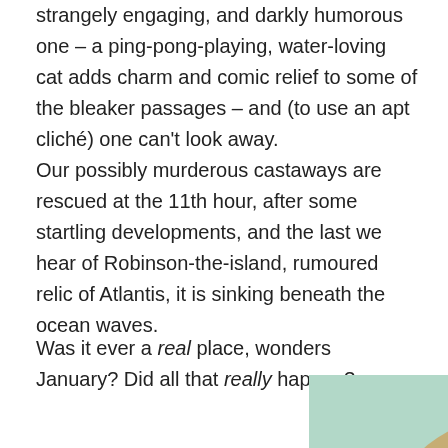strangely engaging, and darkly humorous one – a ping-pong-playing, water-loving cat adds charm and comic relief to some of the bleaker passages – and (to use an apt cliché) one can't look away.
Our possibly murderous castaways are rescued at the 11th hour, after some startling developments, and the last we hear of Robinson-the-island, rumoured relic of Atlantis, it is sinking beneath the ocean waves.
Was it ever a real place, wonders January? Did all that really happen?
[Figure (illustration): Book cover for 'Robinson' featuring the title text in white capital letters on a tan/brown brushstroke background, surrounded by a decorative border of dark red/maroon beads or rosary, on a mint green background.]